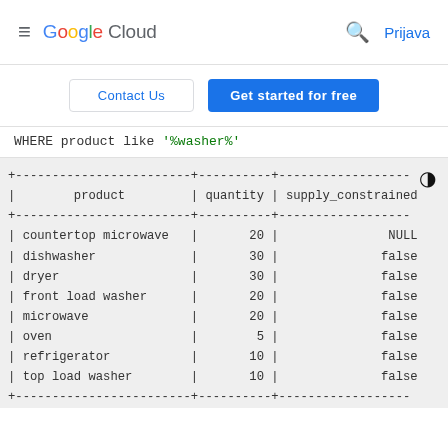Google Cloud  Prijava
Contact Us   Get started for free
WHERE product like '%washer%'
| product | quantity | supply_constrained |
| --- | --- | --- |
| countertop microwave | 20 | NULL |
| dishwasher | 30 | false |
| dryer | 30 | false |
| front load washer | 20 | false |
| microwave | 20 | false |
| oven | 5 | false |
| refrigerator | 10 | false |
| top load washer | 10 | false |